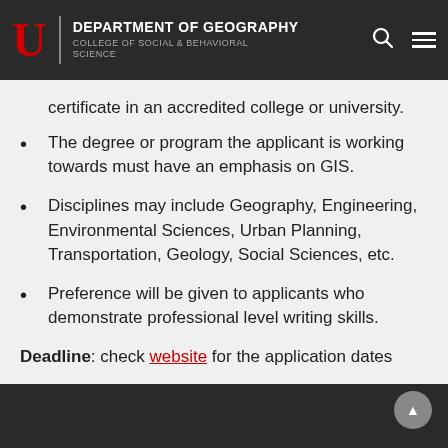DEPARTMENT OF GEOGRAPHY — COLLEGE OF SOCIAL & BEHAVIORAL SCIENCE
certificate in an accredited college or university.
The degree or program the applicant is working towards must have an emphasis on GIS.
Disciplines may include Geography, Engineering, Environmental Sciences, Urban Planning, Transportation, Geology, Social Sciences, etc.
Preference will be given to applicants who demonstrate professional level writing skills.
Deadline: check website for the application dates